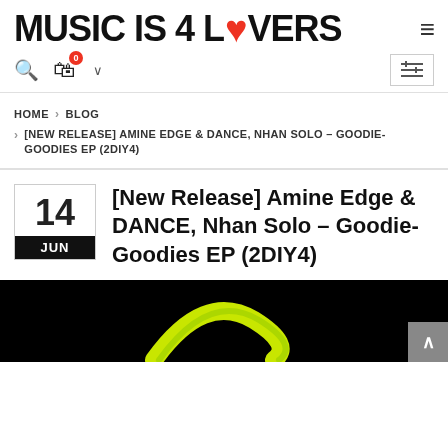MUSIC IS 4 LOVERS
HOME > BLOG > [NEW RELEASE] AMINE EDGE & DANCE, NHAN SOLO – GOODIE-GOODIES EP (2DIY4)
[New Release] Amine Edge & DANCE, Nhan Solo – Goodie-Goodies EP (2DIY4)
[Figure (photo): Dark background with a colorful curved graphic element in green/yellow]